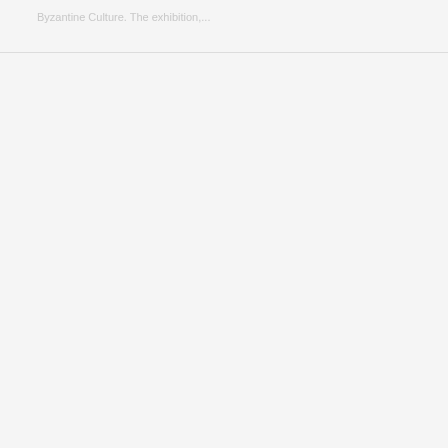Byzantine Culture. The exhibition,...